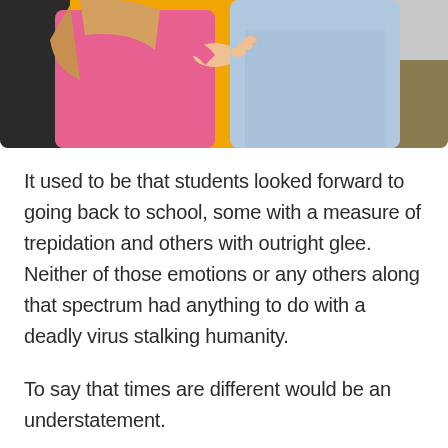[Figure (photo): Two children interacting outdoors in front of a yellow school bus. One child wearing a pink long-sleeve top, the other in a light blue denim jacket. Only their torsos and hands visible.]
It used to be that students looked forward to going back to school, some with a measure of trepidation and others with outright glee. Neither of those emotions or any others along that spectrum had anything to do with a deadly virus stalking humanity.
To say that times are different would be an understatement.
These days, the prospect to school does not